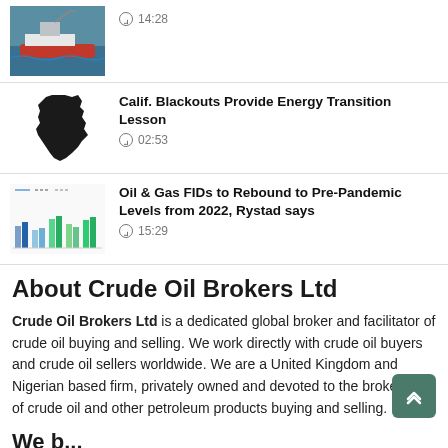[Figure (photo): Ship/oil drilling vessel at sea thumbnail]
14:28
[Figure (illustration): Black silhouette of California state map]
Calif. Blackouts Provide Energy Transition Lesson
02:53
[Figure (bar-chart): Small bar chart thumbnail showing oil & gas FIDs data with blue and green bars]
Oil & Gas FIDs to Rebound to Pre-Pandemic Levels from 2022, Rystad says
15:29
About Crude Oil Brokers Ltd
Crude Oil Brokers Ltd is a dedicated global broker and facilitator of crude oil buying and selling. We work directly with crude oil buyers and crude oil sellers worldwide. We are a United Kingdom and Nigerian based firm, privately owned and devoted to the brokering of crude oil and other petroleum products buying and selling.